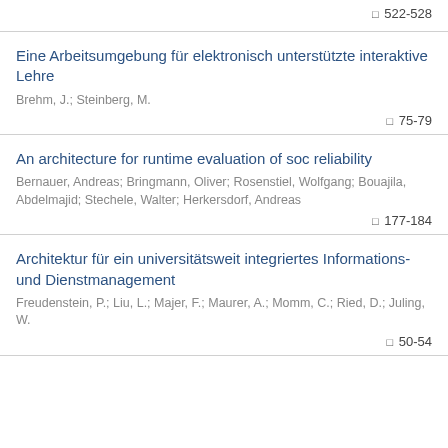522-528
Eine Arbeitsumgebung für elektronisch unterstützte interaktive Lehre
Brehm, J.; Steinberg, M.
75-79
An architecture for runtime evaluation of soc reliability
Bernauer, Andreas; Bringmann, Oliver; Rosenstiel, Wolfgang; Bouajila, Abdelmajid; Stechele, Walter; Herkersdorf, Andreas
177-184
Architektur für ein universitätsweit integriertes Informations- und Dienstmanagement
Freudenstein, P.; Liu, L.; Majer, F.; Maurer, A.; Momm, C.; Ried, D.; Juling, W.
50-54